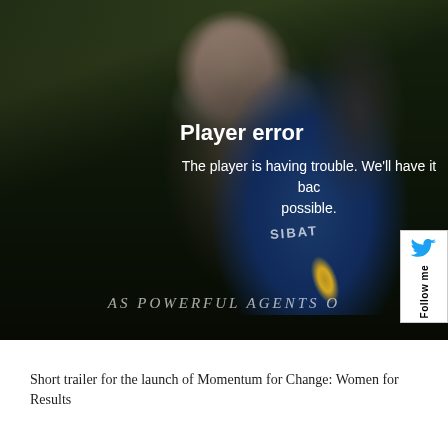[Figure (screenshot): Video player showing a woman in a hijab wearing a blue SIBAT shirt, holding a microphone. The video player displays a 'Player error' overlay message reading 'The player is having trouble. We’ll have it back up as soon as possible.' A Twitter 'Follow me' widget is visible on the right edge. At the bottom of the video frame, text reads 'AS POWERFUL AGENTS O' (truncated).]
Short trailer for the launch of Momentum for Change: Women for Results